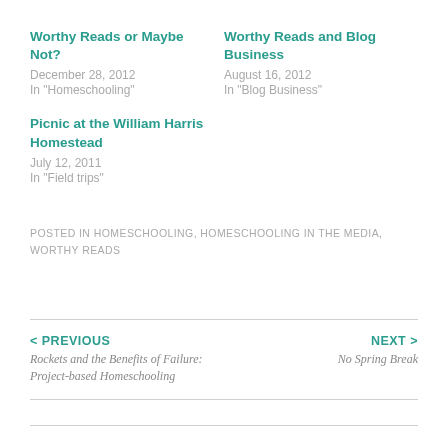Worthy Reads or Maybe Not?
December 28, 2012
In "Homeschooling"
Worthy Reads and Blog Business
August 16, 2012
In "Blog Business"
Picnic at the William Harris Homestead
July 12, 2011
In "Field trips"
POSTED IN HOMESCHOOLING, HOMESCHOOLING IN THE MEDIA, WORTHY READS
< PREVIOUS
Rockets and the Benefits of Failure: Project-based Homeschooling
NEXT >
No Spring Break